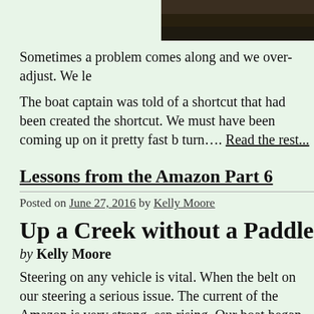[Figure (photo): Partial image at top of page, dark water or wooden surface]
Sometimes a problem comes along and we over-adjust. We le
The boat captain was told of a shortcut that had been created the shortcut. We must have been coming up on it pretty fast b turn…. Read the rest...
Lessons from the Amazon Part 6
Posted on June 27, 2016 by Kelly Moore
Up a Creek without a Paddle
by Kelly Moore
Steering on any vehicle is vital. When the belt on our steering a serious issue. The current of the Amazon is very strong, esp rising. Our boat began to drift with the current. Thankfully the e and so we had a little control…. Read the rest...